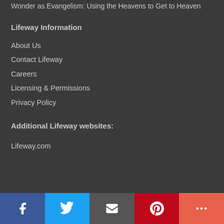Wonder as Evangelism: Using the Heavens to Get to Heaven
Lifeway Information
About Us
Contact Lifeway
Careers
Licensing & Permissions
Privacy Policy
Additional Lifeway websites:
Lifeway.com
[Figure (other): Social media sharing bar with Facebook, Twitter, Email, Pinterest, and More buttons]